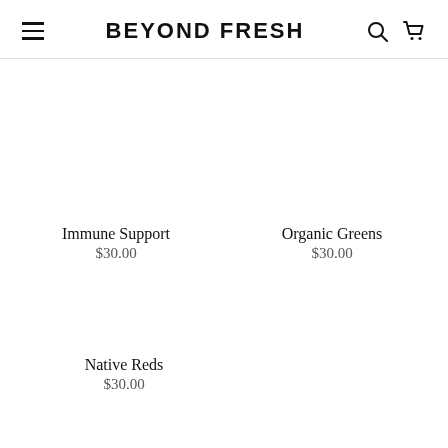BEYOND FRESH
Immune Support
$30.00
Organic Greens
$30.00
Native Reds
$30.00